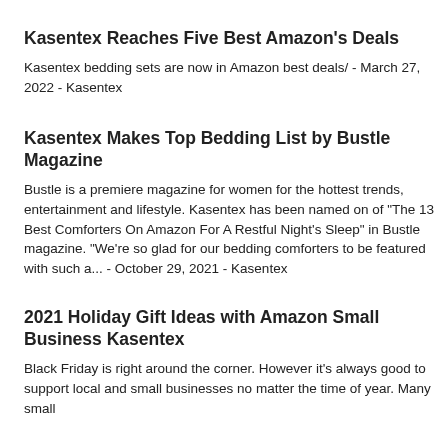Kasentex Reaches Five Best Amazon's Deals
Kasentex bedding sets are now in Amazon best deals/ - March 27, 2022 - Kasentex
Kasentex Makes Top Bedding List by Bustle Magazine
Bustle is a premiere magazine for women for the hottest trends, entertainment and lifestyle. Kasentex has been named on of "The 13 Best Comforters On Amazon For A Restful Night's Sleep" in Bustle magazine. "We're so glad for our bedding comforters to be featured with such a... - October 29, 2021 - Kasentex
2021 Holiday Gift Ideas with Amazon Small Business Kasentex
Black Friday is right around the corner. However it's always good to support local and small businesses no matter the time of year. Many small